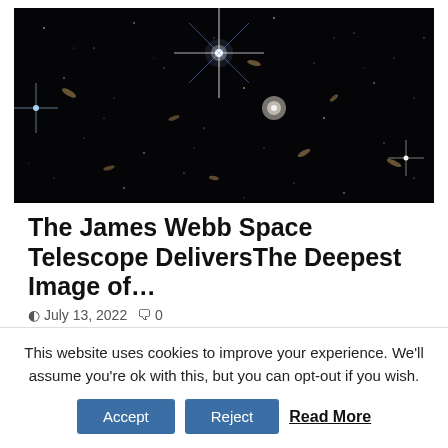[Figure (photo): Deep space image from the James Webb Space Telescope showing numerous galaxies and stars on a black background, with bright star diffraction spikes visible.]
The James Webb Space Telescope DeliversThe Deepest Image of…
July 13, 2022   0
This website uses cookies to improve your experience. We'll assume you're ok with this, but you can opt-out if you wish.